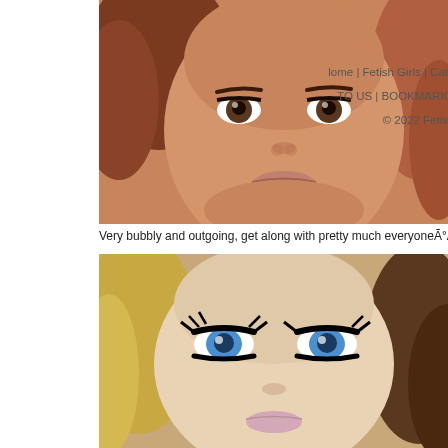18 year old aspiring artist! I'm a freak of nature and love getting wild! I may b
[Figure (photo): Close-up portrait photo of a young woman with curly reddish-brown hair, tan skin, and dramatic eye makeup]
lome | Fetish Girls | Cat
TO US | BOOKMARK
© 2022 Fetis
Very bubbly and outgoing, get along with pretty much everyoneÃ°Å¸ËœÅ
[Figure (photo): Close-up portrait photo of a young woman with blue eyes, dramatic black eyeliner, and blonde/brown hair]